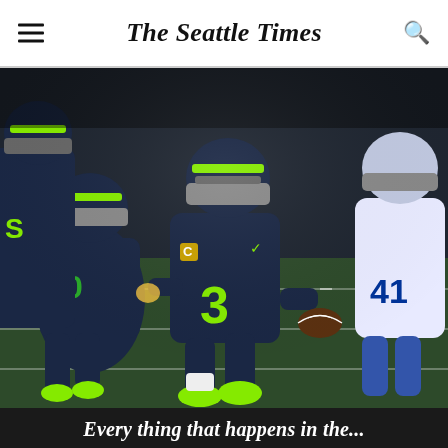The Seattle Times
[Figure (photo): Seattle Seahawks quarterback #3 Russell Wilson scrambles with the football during a game against the Los Angeles Rams. Wilson wears navy blue Seahawks uniform with neon green shoes and holds the football in his right hand while other Seahawks players and a Rams player (#41) are visible in the background on the turf field.]
Every thing that happens in the...